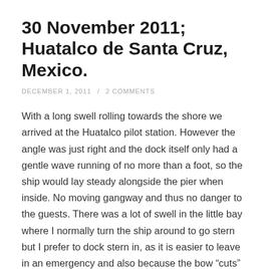30 November 2011; Huatalco de Santa Cruz, Mexico.
DECEMBER 1, 2011  /  2 COMMENTS
With a long swell rolling towards the shore we arrived at the Huatalco pilot station. However the angle was just right and the dock itself only had a gentle wave running of no more than a foot, so the ship would lay steady alongside the pier when inside. No moving gangway and thus no danger to the guests. There was a lot of swell in the little bay where I normally turn the ship around to go stern but I prefer to dock stern in, as it is easier to leave in an emergency and also because the bow “cuts” the swell when it comes in, while with the stern exposed it “bangs” under it. The only danger is, that during the swing, the swell gets hold of the ship and makes it roll.